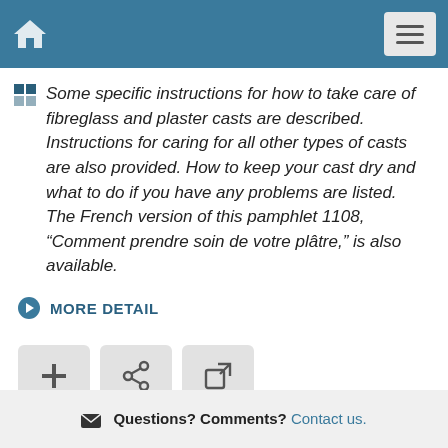Navigation bar with home icon and menu button
Some specific instructions for how to take care of fibreglass and plaster casts are described. Instructions for caring for all other types of casts are also provided. How to keep your cast dry and what to do if you have any problems are listed. The French version of this pamphlet 1108, “Comment prendre soin de votre plâtre,” is also available.
MORE DETAIL
[Figure (infographic): Three action buttons: plus (+), share, and external link icons]
Questions? Comments? Contact us.